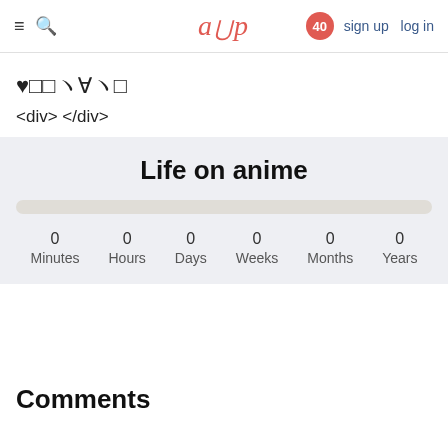≡ 🔍  aup  40  sign up  log in
♥□□'∀'□
<div> </div>
Life on anime
0 Minutes  0 Hours  0 Days  0 Weeks  0 Months  0 Years
Comments